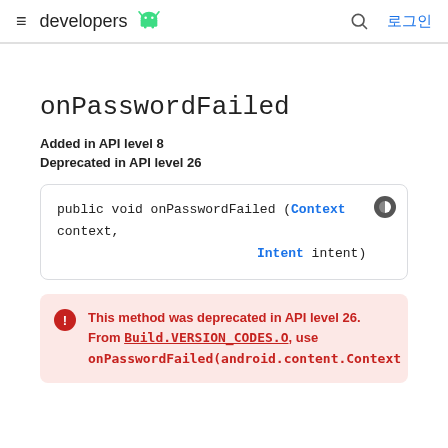≡ developers 🤖  🔍 로그인
onPasswordFailed
Added in API level 8
Deprecated in API level 26
public void onPasswordFailed (Context context, Intent intent)
This method was deprecated in API level 26. From Build.VERSION_CODES.O, use onPasswordFailed(android.content.Context